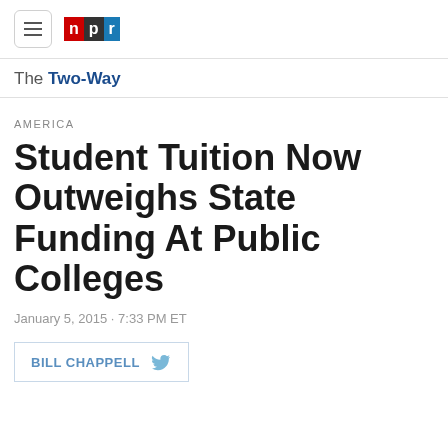NPR - The Two-Way
AMERICA
Student Tuition Now Outweighs State Funding At Public Colleges
January 5, 2015 · 7:33 PM ET
BILL CHAPPELL